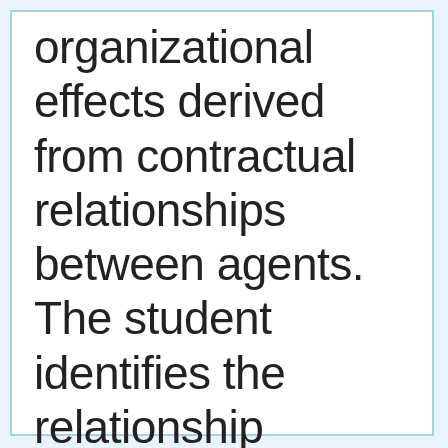organizational effects derived from contractual relationships between agents. The student identifies the relationship between